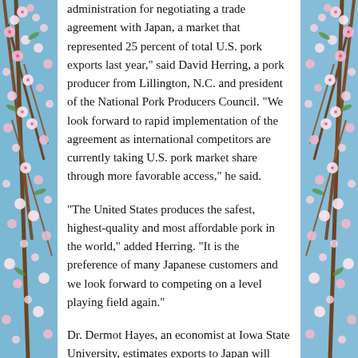[Figure (photo): Left side floral/cherry blossom photo strip with pink and white flowers against blue sky]
administration for negotiating a trade agreement with Japan, a market that represented 25 percent of total U.S. pork exports last year," said David Herring, a pork producer from Lillington, N.C. and president of the National Pork Producers Council. "We look forward to rapid implementation of the agreement as international competitors are currently taking U.S. pork market share through more favorable access," he said.
"The United States produces the safest, highest-quality and most affordable pork in the world," added Herring. "It is the preference of many Japanese customers and we look forward to competing on a level playing field again."
Dr. Dermot Hayes, an economist at Iowa State University, estimates exports to Japan will grow from $1.6 billion in 2018 to more than $2.2 billion over the next 15 years as a result of the United States pork industry attaining market access parity for pork.
[Figure (photo): Right side floral/cherry blossom photo strip with pink and white flowers against blue sky]